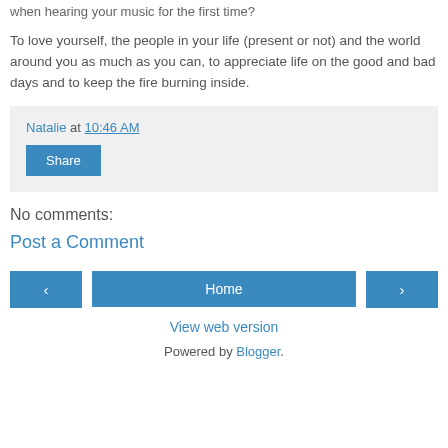when hearing your music for the first time?
To love yourself, the people in your life (present or not) and the world around you as much as you can, to appreciate life on the good and bad days and to keep the fire burning inside.
Natalie at 10:46 AM
Share
No comments:
Post a Comment
‹
Home
›
View web version
Powered by Blogger.